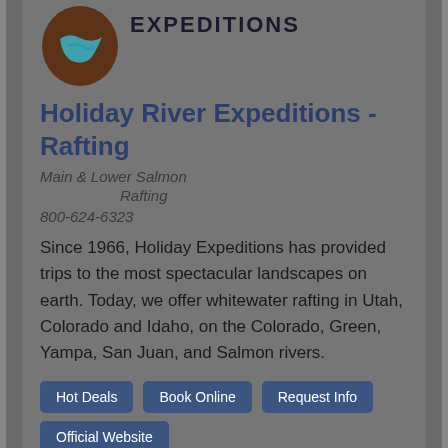[Figure (logo): Holiday River Expeditions logo: brown circular shape with teal river/wave design, next to bold text EXPEDITIONS]
Holiday River Expeditions - Rafting
Main & Lower Salmon
Rafting
800-624-6323
Since 1966, Holiday Expeditions has provided trips to the most spectacular landscapes on earth. Today, we offer whitewater rafting in Utah, Colorado and Idaho, on the Colorado, Green, Yampa, San Juan, and Salmon rivers.
Hot Deals
Book Online
Request Info
Official Website